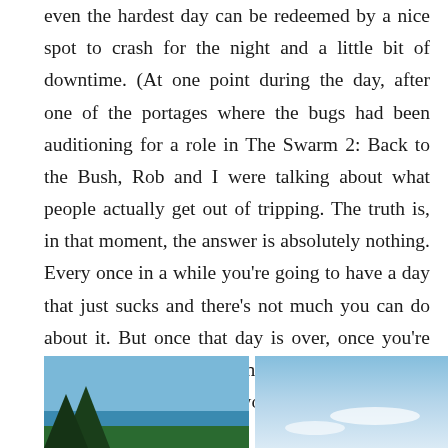even the hardest day can be redeemed by a nice spot to crash for the night and a little bit of downtime. (At one point during the day, after one of the portages where the bugs had been auditioning for a role in The Swarm 2: Back to the Bush, Rob and I were talking about what people actually get out of tripping. The truth is, in that moment, the answer is absolutely nothing. Every once in a while you're going to have a day that just sucks and there's not much you can do about it. But once that day is over, once you're on your site, swimming and watching the sun go down, it all starts to feel worth it again).
[Figure (photo): Two side-by-side outdoor photographs showing sky and landscape scenes, partially visible at the bottom of the page.]